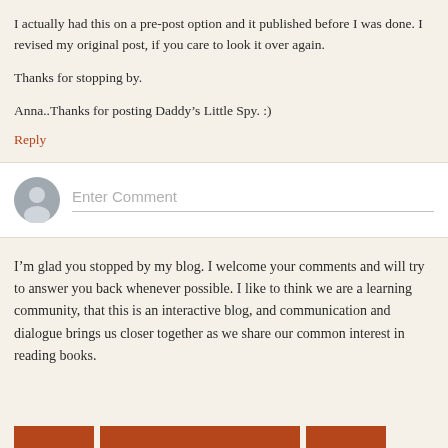I actually had this on a pre-post option and it published before I was done. I revised my original post, if you care to look it over again.
Thanks for stopping by.
Anna..Thanks for posting Daddy's Little Spy. :)
Reply
[Figure (other): Comment input box with avatar icon and placeholder text 'Enter Comment']
I'm glad you stopped by my blog. I welcome your comments and will try to answer you back whenever possible. I like to think we are a learning community, that this is an interactive blog, and communication and dialogue brings us closer together as we share our common interest in reading books.